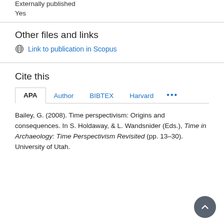Externally published
Yes
Other files and links
Link to publication in Scopus
Cite this
APA  Author  BIBTEX  Harvard  ...
Bailey, G. (2008). Time perspectivism: Origins and consequences. In S. Holdaway, & L. Wandsnider (Eds.), Time in Archaeology: Time Perspectivism Revisited (pp. 13-30). University of Utah.